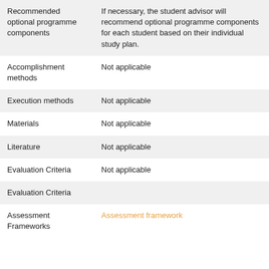| Recommended optional programme components | If necessary, the student advisor will recommend optional programme components for each student based on their individual study plan. |
| Accomplishment methods | Not applicable |
| Execution methods | Not applicable |
| Materials | Not applicable |
| Literature | Not applicable |
| Evaluation Criteria | Not applicable |
| Evaluation Criteria |  |
| Assessment Frameworks | Assessment framework |